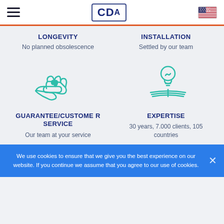CDA
LONGEVITY
No planned obsolescence
INSTALLATION
Settled by our team
[Figure (illustration): Teal icon of two hands exchanging a heart]
[Figure (illustration): Teal icon of a light bulb on an open book]
GUARANTEE/CUSTOMER SERVICE
Our team at your service
EXPERTISE
30 years, 7.000 clients, 105 countries
We use cookies to ensure that we give you the best experience on our website. If you continue we assume that you agree to our use of cookies.